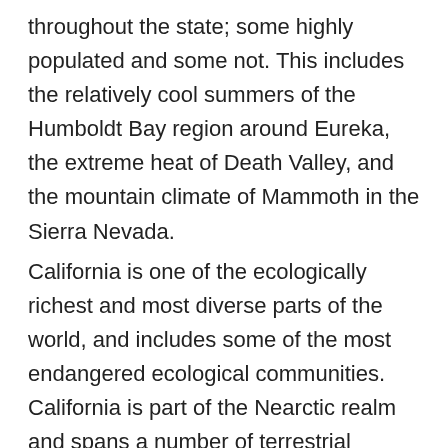throughout the state; some highly populated and some not. This includes the relatively cool summers of the Humboldt Bay region around Eureka, the extreme heat of Death Valley, and the mountain climate of Mammoth in the Sierra Nevada.
California is one of the ecologically richest and most diverse parts of the world, and includes some of the most endangered ecological communities. California is part of the Nearctic realm and spans a number of terrestrial ecoregions.
California's large number of endemic species includes relict species, which have died out elsewhere on the Catalinian ground...